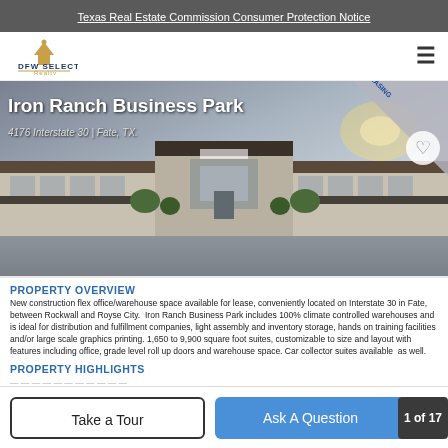Texas Real Estate Commission Consumer Protection Notice
[Figure (logo): DFW Select Realty logo with house icon and gold accents]
Iron Ranch Business Park
4176 Interstate 30 | Fate, TX.
[Figure (photo): Architectural rendering of Iron Ranch Business Park showing commercial warehouse/flex office building with NOW PRE-LEASING banner in top right corner]
PROPERTY OVERVIEW
New construction flex office/warehouse space available for lease, conveniently located on Interstate 30 in Fate, between Rockwall and Royse City. Iron Ranch Business Park includes 100% climate controlled warehouses and is ideal for distribution and fulfillment companies, light assembly and inventory storage, hands on training facilities and/or large scale graphics printing. 1,650 to 9,900 square foot suites, customizable to size and layout with features including office, grade level roll up doors and warehouse space. Car collector suites available as well.
PROPERTY HIGHLIGHTS